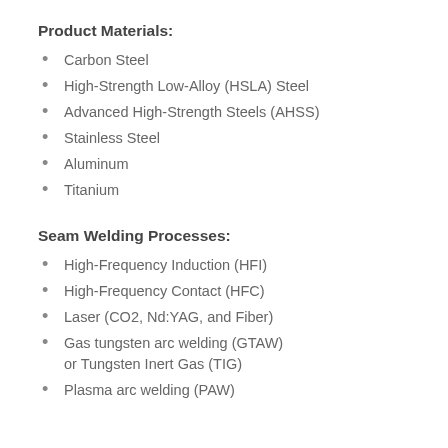Product Materials:
Carbon Steel
High-Strength Low-Alloy (HSLA) Steel
Advanced High-Strength Steels (AHSS)
Stainless Steel
Aluminum
Titanium
Seam Welding Processes:
High-Frequency Induction (HFI)
High-Frequency Contact (HFC)
Laser (CO2, Nd:YAG, and Fiber)
Gas tungsten arc welding (GTAW) or Tungsten Inert Gas (TIG)
Plasma arc welding (PAW)